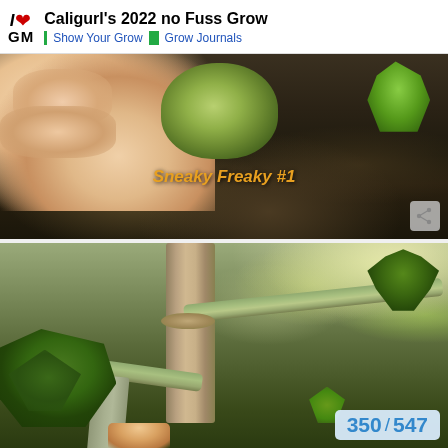Caligurl's 2022 no Fuss Grow | Show Your Grow | Grow Journals
[Figure (photo): Close-up photo of a cannabis seed being held over dark soil, with text overlay 'Sneaky Freaky #1' in orange italic font. A small green seedling is visible in the upper right corner.]
[Figure (photo): Close-up photo of cannabis plant stems/branches showing thick woody main stem with branches spreading outward, large green leaves visible at left and top right, and a person's thumb visible at bottom. Pagination overlay '350 / 547' in blue on light blue background at bottom right.]